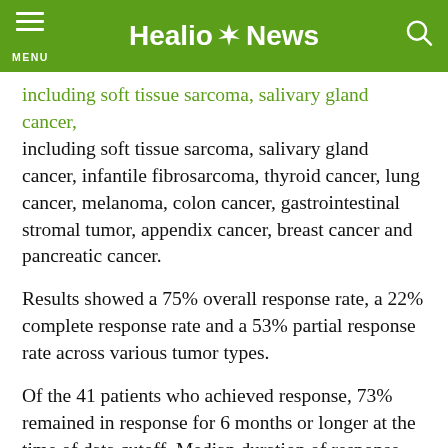Healio News
including soft tissue sarcoma, salivary gland cancer, infantile fibrosarcoma, thyroid cancer, lung cancer, melanoma, colon cancer, gastrointestinal stromal tumor, appendix cancer, breast cancer and pancreatic cancer.
Results showed a 75% overall response rate, a 22% complete response rate and a 53% partial response rate across various tumor types.
Of the 41 patients who achieved response, 73% remained in response for 6 months or longer at the time of data cutoff. Median duration of response and median PFS had not been reached. Median time to response was 1.84 months.